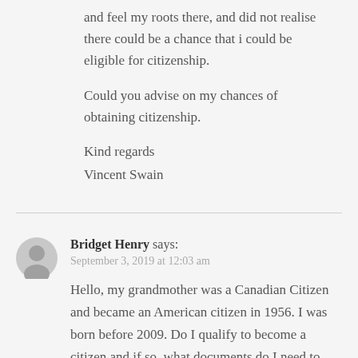and feel my roots there, and did not realise there could be a chance that i could be eligible for citizenship.
Could you advise on my chances of obtaining citizenship.
Kind regards
Vincent Swain
Bridget Henry says:
September 3, 2019 at 12:03 am
Hello, my grandmother was a Canadian Citizen and became an American citizen in 1956. I was born before 2009. Do I qualify to become a citizen and if so, what documents do I need to gather?